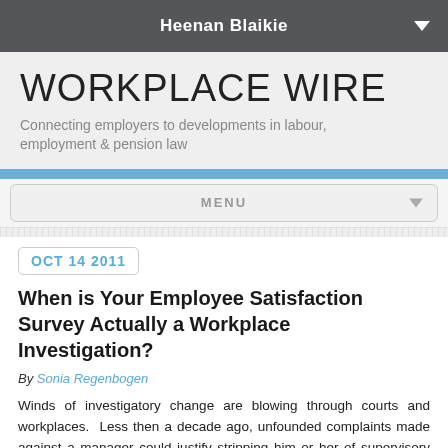Heenan Blaikie
WORKPLACE WIRE
Connecting employers to developments in labour, employment & pension law
MENU
OCT 14 2011
When is Your Employee Satisfaction Survey Actually a Workplace Investigation?
By Sonia Regenbogen
Winds of investigatory change are blowing through courts and workplaces.  Less then a decade ago, unfounded complaints made against a manager could justify stripping him or her of supervisory duties and bar an action for constructive